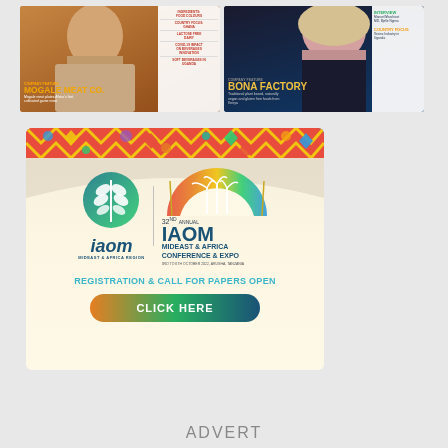[Figure (photo): Two food industry magazine covers side by side. Left cover shows a man in khaki shirt with text 'COMPANY FEATURE MOGALE MEAT CO. Mogale meat plates Africa's first cultivated game meat' and sidebar items about Ingredients, Food Colours, Country Focus Ghana, Lactose Free Dairy, Covid-19 Impact on Beverage Innovation, Soft Beverages in Uganda. Right cover shows a woman with text 'COMPANY FEATURE BONA FACTORY Traditional plant based, naturally vegan and gluten free foods from Kenya' and sidebar with Interview Manuel Marchicot MD, Bjelle Ngima and Country Focus Grains Industry in Uganda.]
[Figure (infographic): IAOM (International Association of Operative Millers) Mideast & Africa Region advertisement. Features colorful tribal/African pattern banner at top, IAOM wheat logo on left, and '32ND ANNUAL IAOM MIDEAST & AFRICA CONFERENCE & EXPO' text with dates '3RD TO 6TH OCTOBER 2022, ARUSHA, TANZANIA'. Below reads 'REGISTRATION & CALL FOR PAPERS OPEN' and a gradient 'CLICK HERE' button.]
ADVERT